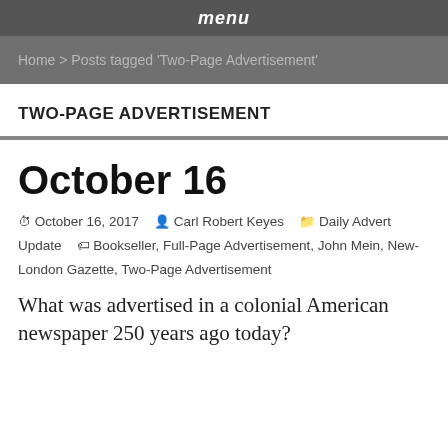menu
Home > Posts tagged 'Two-Page Advertisement'
TWO-PAGE ADVERTISEMENT
October 16
October 16, 2017  Carl Robert Keyes  Daily Advert Update  Bookseller, Full-Page Advertisement, John Mein, New-London Gazette, Two-Page Advertisement
What was advertised in a colonial American newspaper 250 years ago today?